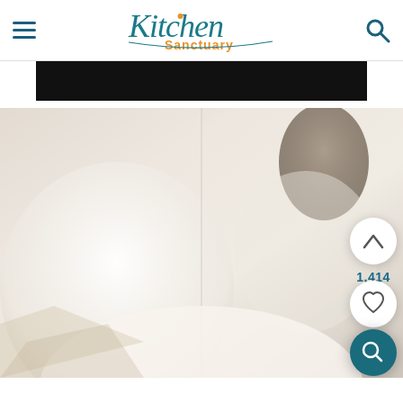Kitchen Sanctuary
[Figure (screenshot): Black horizontal banner below the header navigation]
[Figure (photo): Close-up food/cooking photograph showing white bowls or dishes with a vertical divider line, dark container in upper right, floating action buttons on right side showing upvote arrow, count 1,414, heart icon, and search icon]
1,414